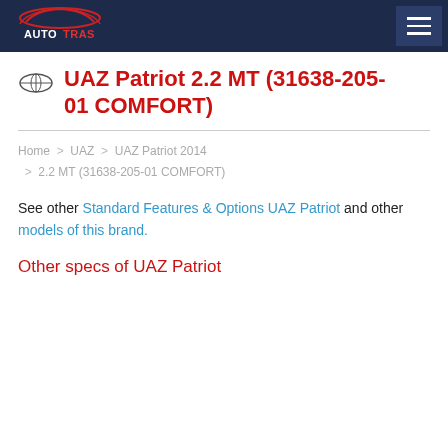AUTOTRAS
UAZ Patriot 2.2 MT (31638-205-01 COMFORT)
Home > UAZ > UAZ Patriot 2014 > 2.2 MT (31638-205-01 COMFORT)
See other Standard Features & Options UAZ Patriot and other models of this brand.
Other specs of UAZ Patriot